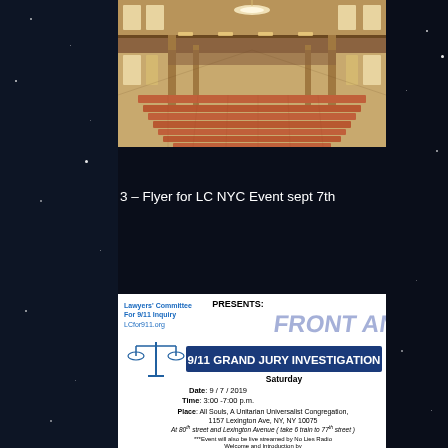[Figure (photo): Interior of an auditorium or concert hall with rows of reddish-orange seats viewed from the stage end, showing balcony level, columns, and a chandelier]
3 – Flyer for LC NYC Event sept 7th
[Figure (infographic): Flyer for Lawyers' Committee for 9/11 Inquiry event titled 'Front and Center: 9/11 Grand Jury Investigation'. Saturday, Date: 9/7/2019, Time: 3:00-7:00 p.m., Place: All Souls, A Unitarian Universalist Congregation, 1157 Lexington Ave, NY, NY 10075. At 80th street and Lexington Avenue (take 6 train to 77th street). ***Event will also be live streamed by No Lies Radio. Welcome and Introduction by...]